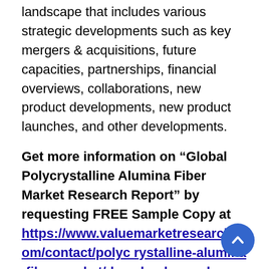landscape that includes various strategic developments such as key mergers & acquisitions, future capacities, partnerships, financial overviews, collaborations, new product developments, new product launches, and other developments.
Get more information on “Global Polycrystalline Alumina Fiber Market Research Report” by requesting FREE Sample Copy at https://www.valuemarketresearch.com/contact/polycrystalline-alumina-fiber-market/download-sample
Market Dynamics
Because of its superior properties such as